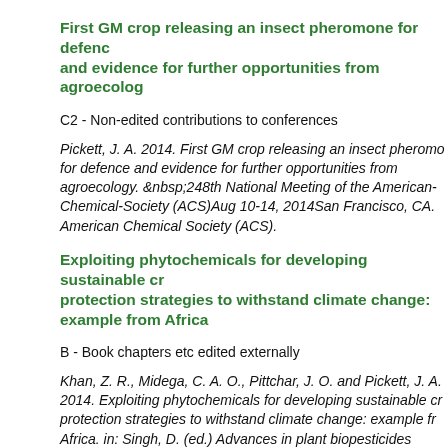First GM crop releasing an insect pheromone for defence and evidence for further opportunities from agroecology
C2 - Non-edited contributions to conferences
Pickett, J. A. 2014. First GM crop releasing an insect pheromone for defence and evidence for further opportunities from agroecology. &nbsp;248th National Meeting of the American-Chemical-Society (ACS)Aug 10-14, 2014San Francisco, CA. American Chemical Society (ACS).
Exploiting phytochemicals for developing sustainable crop protection strategies to withstand climate change: example from Africa
B - Book chapters etc edited externally
Khan, Z. R., Midega, C. A. O., Pittchar, J. O. and Pickett, J. A. 2014. Exploiting phytochemicals for developing sustainable crop protection strategies to withstand climate change: example from Africa. in: Singh, D. (ed.) Advances in plant biopesticides Springer, New Delhi. pp. 35-46
New chemical ecology based opportunities for agriculture